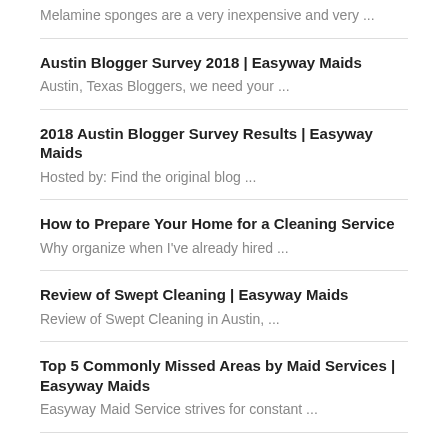Melamine sponges are a very inexpensive and very ...
Austin Blogger Survey 2018 | Easyway Maids
Austin, Texas Bloggers, we need your ...
2018 Austin Blogger Survey Results | Easyway Maids
Hosted by: Find the original blog ...
How to Prepare Your Home for a Cleaning Service
Why organize when I've already hired ...
Review of Swept Cleaning | Easyway Maids
Review of Swept Cleaning in Austin, ...
Top 5 Commonly Missed Areas by Maid Services | Easyway Maids
Easyway Maid Service strives for constant ...